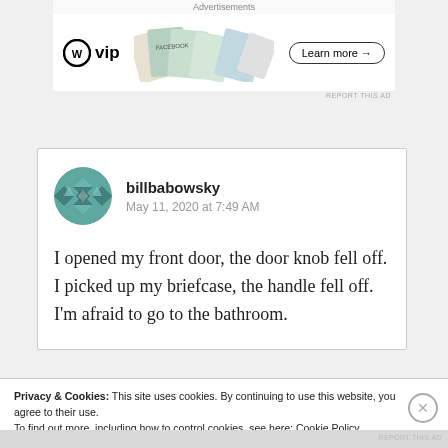[Figure (screenshot): WordPress VIP advertisement banner with logo and 'Learn more' button, showing social media brand cards in the background]
billbabowsky
May 11, 2020 at 7:49 AM

I opened my front door, the door knob fell off. I picked up my briefcase, the handle fell off. I'm afraid to go to the bathroom.
Privacy & Cookies: This site uses cookies. By continuing to use this website, you agree to their use.
To find out more, including how to control cookies, see here: Cookie Policy
Close and accept